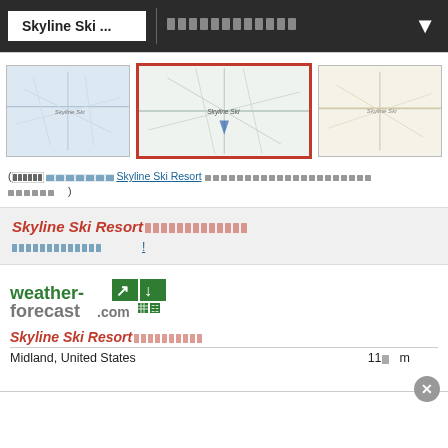Skyline Ski ...  [corrupted text]
[Figure (map): Three map thumbnails showing Skyline Ski Resort area. The middle one is selected with a red border.]
([corrupted] Skyline Ski Resort [corrupted])
Skyline Ski Resort[corrupted] - [corrupted link]
[Figure (logo): weather-forecast.com logo with green arrow icon]
Skyline Ski Resort[corrupted]
Midland, United States   11[corrupted]m